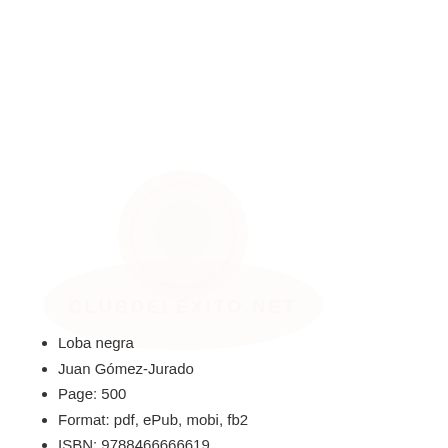[Figure (other): Faded watermark logo or stamp with circular emblem and text banner, very light pink/salmon color]
Loba negra
Juan Gómez-Jurado
Page: 500
Format: pdf, ePub, mobi, fb2
ISBN: 9788466666619